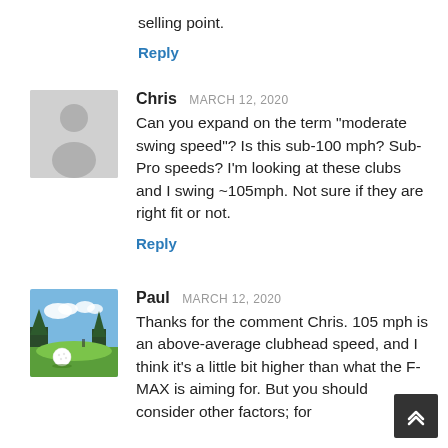selling point.
Reply
Chris  MARCH 12, 2020
Can you expand on the term "moderate swing speed"? Is this sub-100 mph? Sub-Pro speeds? I'm looking at these clubs and I swing ~105mph. Not sure if they are right fit or not.
Reply
[Figure (photo): Golf course photo showing a golf ball on green grass with trees and sky in background — used as Paul's avatar]
Paul  MARCH 12, 2020
Thanks for the comment Chris. 105 mph is an above-average clubhead speed, and I think it's a little bit higher than what the F-MAX is aiming for. But you should consider other factors; for